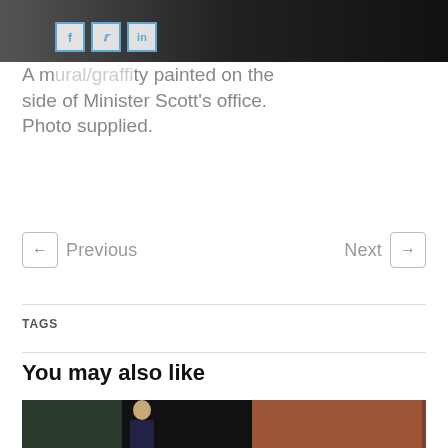[Figure (photo): Top portion of an image showing a dark background with social share buttons (Facebook, Twitter, LinkedIn) overlaid on the left side]
A mural/graffiti painted on the side of Minister Scott's office. Photo supplied.
← Previous   Next →
TAGS
You may also like
[Figure (photo): Two photos side by side at the bottom: left shows a person in a dark suit, right shows a brick building]